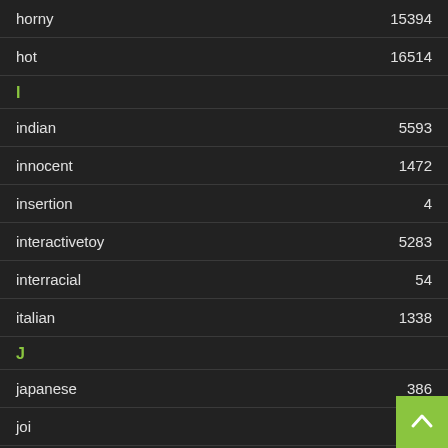horny 15394
hot 16514
I
indian 5593
innocent 1472
insertion 4
interactivetoy 5283
interracial 54
italian 1338
J
japanese 386
joi 9026
juicy 258
K
kinky
kissing